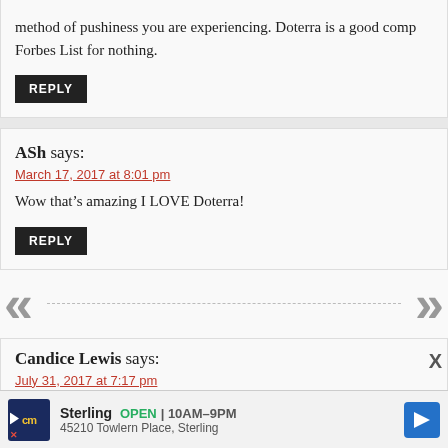method of pushiness you are experiencing. Doterra is a good comp Forbes List for nothing.
REPLY
ASh says:
March 17, 2017 at 8:01 pm
Wow that’s amazing I LOVE Doterra!
REPLY
Candice Lewis says:
July 31, 2017 at 7:17 pm
Hi, I use the Frank by DoTerra and love it, but I have heard great t called Florihana. Yes, the price of shipping is horrible (I live i N afford to buy some of their oils (recovering from my last Do
[Figure (infographic): Navigation arrows (left and right chevrons) with a dashed line between them]
[Figure (infographic): Advertisement bar for Sterling store showing CM logo, store name, open hours, address, and navigation arrow icon]